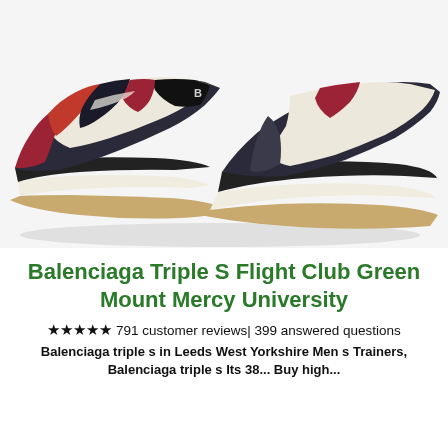[Figure (photo): Close-up photo of Balenciaga Triple S sneakers showing chunky sole with black, white/cream, red, and dark navy color panels. The distinctive thick layered rubber sole with tan/gum bottom is prominently visible against a white background.]
Balenciaga Triple S Flight Club Green Mount Mercy University
★★★★★ 791 customer reviews| 399 answered questions
Balenciaga triple s in Leeds West Yorkshire Men s Trainers, Balenciaga triple s Its 38... Buy high...